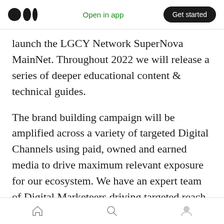Medium logo | Open in app | Get started
launch the LGCY Network SuperNova MainNet. Throughout 2022 we will release a series of deeper educational content & technical guides.
The brand building campaign will be amplified across a variety of targeted Digital Channels using paid, owned and earned media to drive maximum relevant exposure for our ecosystem. We have an expert team of Digital Marketeers driving targeted reach & optimisation of our media plan.
We will also phase release a variety of
Home | Search | Profile